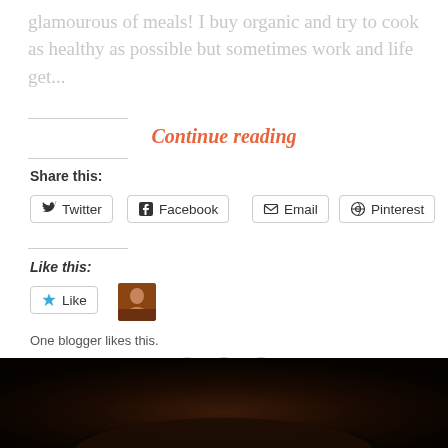glamourous of meals! I buy organic and try to cook as healthy as possible but sometimes work and life get...
Continue reading
Share this:
Twitter
Facebook
Email
Pinterest
Like this:
Like
One blogger likes this.
[Figure (illustration): Decorative divider with three button/circle icons on a dashed line]
[Figure (photo): Dark food photograph at bottom of page]